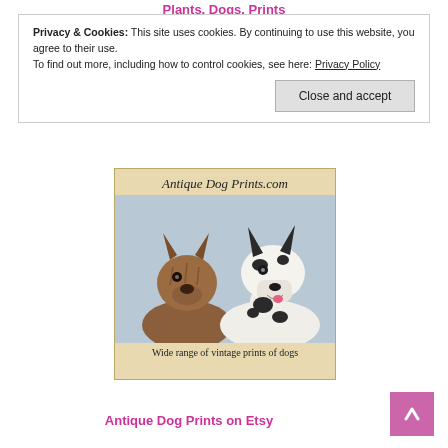Plants, Dogs, Prints
Privacy & Cookies: This site uses cookies. By continuing to use this website, you agree to their use.
To find out more, including how to control cookies, see here: Privacy Policy
Close and accept
[Figure (illustration): Advertisement banner for AntiqueDogPrints.com showing two dog portraits (a brown brindle dog and a Harlequin Great Dane) on a beige background with the text 'Antique Dog Prints.com' at top and 'Wide range of vintage prints of dogs' at bottom.]
Antique Dog Prints on Etsy